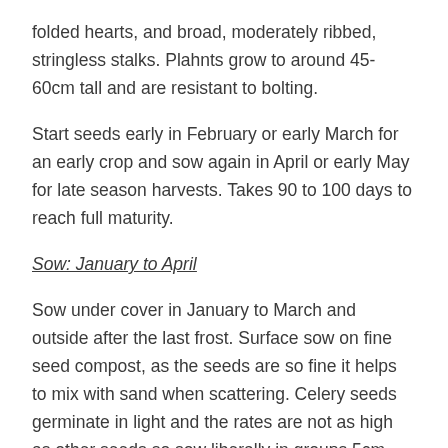folded hearts, and broad, moderately ribbed, stringless stalks. Plahnts grow to around 45-60cm tall and are resistant to bolting.
Start seeds early in February or early March for an early crop and sow again in April or early May for late season harvests. Takes 90 to 100 days to reach full maturity.
Sow: January to April
Sow under cover in January to March and outside after the last frost. Surface sow on fine seed compost, as the seeds are so fine it helps to mix with sand when scattering. Celery seeds germinate in light and the rates are not as high as other seeds so sow liberally in groups 5cm apart.
Germination takes place at 21°C and takes around 14 to 21 days, transplant when 5cm tall into individual pots with